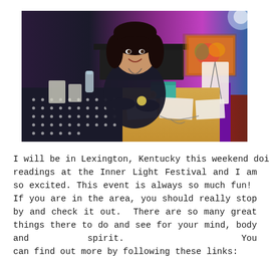[Figure (photo): A woman with dark hair smiling behind a vendor booth table covered with a gold tablecloth, displaying jewelry and other items. The setting appears to be an indoor festival or fair with colorful backgrounds including purple and red patterned carpet.]
I will be in Lexington, Kentucky this weekend doing readings at the Inner Light Festival and I am so excited. This event is always so much fun!  If you are in the area, you should really stop by and check it out.  There are so many great things there to do and see for your mind, body and spirit.  You can find out more by following these links: